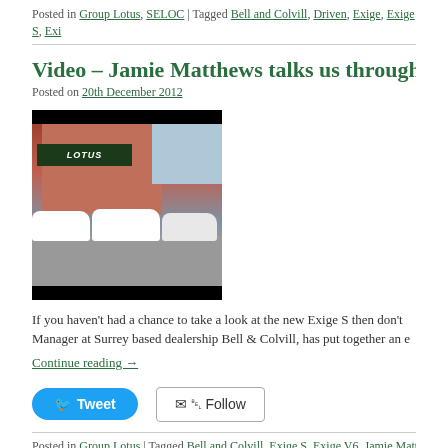Posted in Group Lotus, SELOC | Tagged Bell and Colvill, Driven, Exige, Exige S, Exi...
Video – Jamie Matthews talks us through the...
Posted on 20th December 2012
[Figure (photo): Thumbnail image of Lotus cars parked in front of a Lotus dealership building]
If you haven't had a chance to take a look at the new Exige S then don't... Manager at Surrey based dealership Bell & Colvill, has put together an e...
Continue reading →
Posted in Group Lotus | Tagged Bell and Colvill, Exige S, Exige V6, Jamie Matthews...